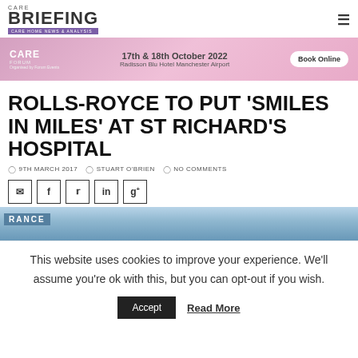CARE BRIEFING – Care Home News & Analysis
[Figure (infographic): Care Forum banner ad: 17th & 18th October 2022, Radisson Blu Hotel Manchester Airport, Book Online button]
ROLLS-ROYCE TO PUT 'SMILES IN MILES' AT ST RICHARD'S HOSPITAL
9TH MARCH 2017   STUART O'BRIEN   NO COMMENTS
[Figure (infographic): Social share buttons: email, facebook, twitter, linkedin, google+]
[Figure (photo): Partial photo of a building entrance sign]
This website uses cookies to improve your experience. We'll assume you're ok with this, but you can opt-out if you wish.
Accept   Read More